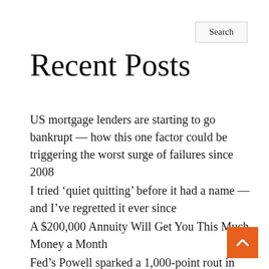Search
Recent Posts
US mortgage lenders are starting to go bankrupt — how this one factor could be triggering the worst surge of failures since 2008
I tried ‘quiet quitting’ before it had a name — and I’ve regretted it ever since
A $200,000 Annuity Will Get You This Much Money a Month
Fed’s Powell sparked a 1,000-point rout in the Dow. Here’s what investors should do next.
I tried ‘quiet quitting’ before it was cool — and